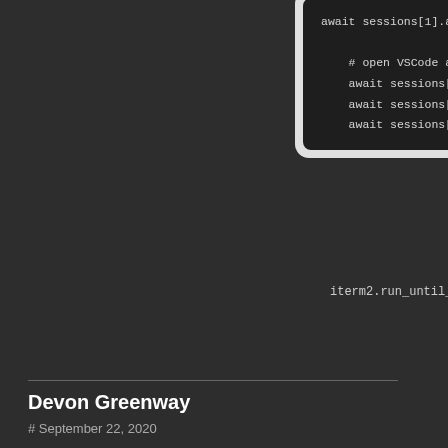[Figure (screenshot): Dark code editor screenshot showing Python async code with iterm2 session calls. Lines visible: await sessions[1].async_send_tex, # open VSCode and then start run, await sessions[2].async_activate, await sessions[2].async_send_tex, await sessions[2].async_send_tex, and iterm2.run_until_complete(main)]
Devon Greenway
# September 22, 2020
If you don't actually need separate terminals, I have found that foreman http://blog.daviddollar.org/2011/05/06/introducing-foreman.html works great. It is also very simple to set up as it requires a single text file that lists the commands you